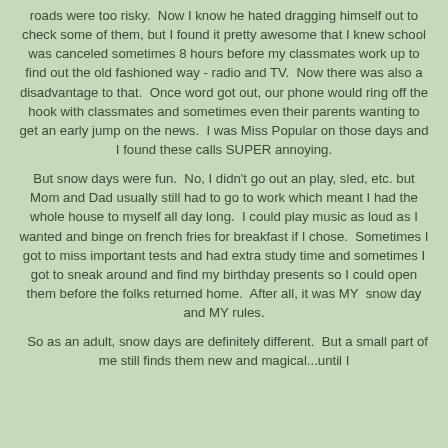roads were too risky.  Now I know he hated dragging himself out to check some of them, but I found it pretty awesome that I knew school was canceled sometimes 8 hours before my classmates work up to find out the old fashioned way - radio and TV.  Now there was also a disadvantage to that.  Once word got out, our phone would ring off the hook with classmates and sometimes even their parents wanting to get an early jump on the news.  I was Miss Popular on those days and I found these calls SUPER annoying.
But snow days were fun.  No, I didn't go out an play, sled, etc. but Mom and Dad usually still had to go to work which meant I had the whole house to myself all day long.  I could play music as loud as I wanted and binge on french fries for breakfast if I chose.  Sometimes I got to miss important tests and had extra study time and sometimes I got to sneak around and find my birthday presents so I could open them before the folks returned home.  After all, it was MY  snow day and MY rules.
So as an adult, snow days are definitely different.  But a small part of me still finds them new and magical...until I